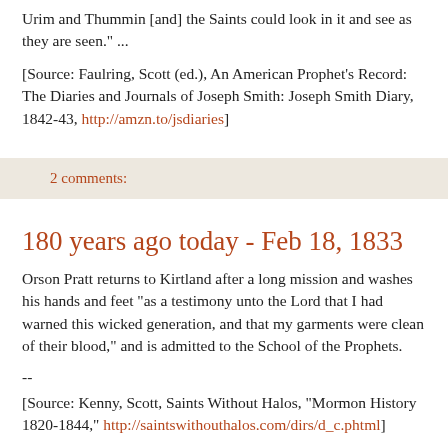Urim and Thummin [and] the Saints could look in it and see as they are seen." ...
[Source: Faulring, Scott (ed.), An American Prophet's Record: The Diaries and Journals of Joseph Smith: Joseph Smith Diary, 1842-43, http://amzn.to/jsdiaries]
2 comments:
180 years ago today - Feb 18, 1833
Orson Pratt returns to Kirtland after a long mission and washes his hands and feet "as a testimony unto the Lord that I had warned this wicked generation, and that my garments were clean of their blood," and is admitted to the School of the Prophets.
--
[Source: Kenny, Scott, Saints Without Halos, "Mormon History 1820-1844," http://saintswithouthalos.com/dirs/d_c.phtml]